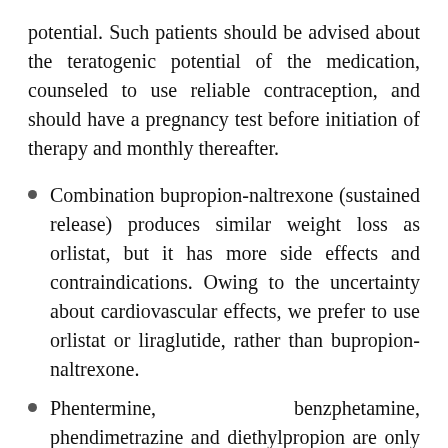potential. Such patients should be advised about the teratogenic potential of the medication, counseled to use reliable contraception, and should have a pregnancy test before initiation of therapy and monthly thereafter.
Combination bupropion-naltrexone (sustained release) produces similar weight loss as orlistat, but it has more side effects and contraindications. Owing to the uncertainty about cardiovascular effects, we prefer to use orlistat or liraglutide, rather than bupropion-naltrexone.
Phentermine, benzphetamine, phendimetrazine and diethylpropion are only approved by the US Food and Drug Administration (FDA) for short-term (ie, 12 weeks) use, have more side effects,